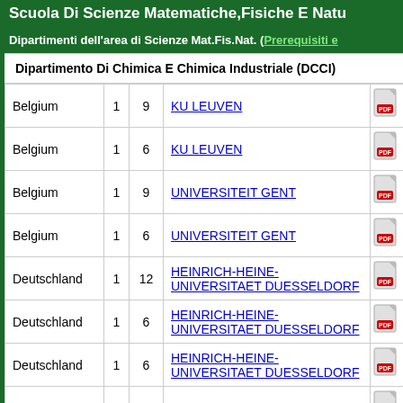Scuola Di Scienze Matematiche, Fisiche E Natu...
Dipartimenti dell'area di Scienze Mat.Fis.Nat. (Prerequisiti e...)
Dipartimento Di Chimica E Chimica Industriale (DCCI)
| Country |  |  | University |  |
| --- | --- | --- | --- | --- |
| Belgium | 1 | 9 | KU LEUVEN |  |
| Belgium | 1 | 6 | KU LEUVEN |  |
| Belgium | 1 | 9 | UNIVERSITEIT GENT |  |
| Belgium | 1 | 6 | UNIVERSITEIT GENT |  |
| Deutschland | 1 | 12 | HEINRICH-HEINE-UNIVERSITAET DUESSELDORF |  |
| Deutschland | 1 | 6 | HEINRICH-HEINE-UNIVERSITAET DUESSELDORF |  |
| Deutschland | 1 | 6 | HEINRICH-HEINE-UNIVERSITAET DUESSELDORF |  |
| Deutschland | 1 | 3 | RUHR-UNIVERSITAET BOCHUM |  |
| Deutschland | 1 | 3 | RUHR-UNIVERSITAET BOCHUM |  |
| España | 1 | 6 | UNIVERSIDAD COMPLUTENSE DE MADRID |  |